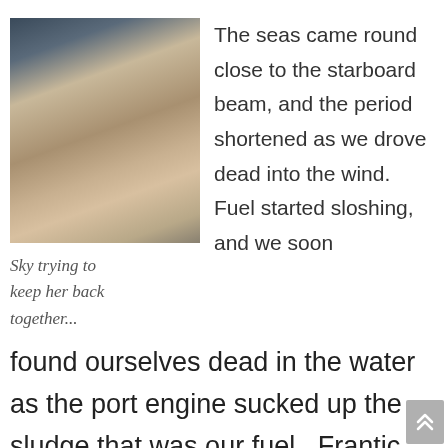[Figure (photo): A woman lying on her back on a light-colored surface, wearing a dark patterned outfit, with a white pillow under her head. Background shows blue and light elements.]
Sky trying to keep her back together...
The seas came round close to the starboard beam, and the period shortened as we drove dead into the wind.  Fuel started sloshing, and we soon found ourselves dead in the water as the port engine sucked up the sludge that was our fuel.  Frantic filter changes continued, with increased